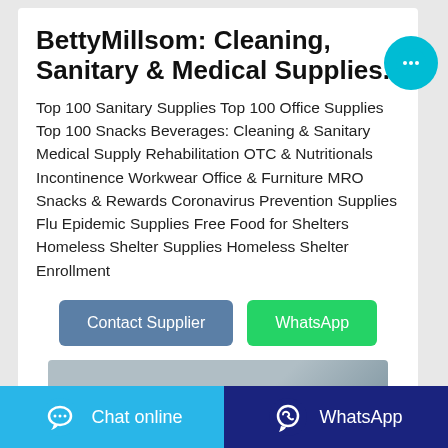BettyMillsom: Cleaning, Sanitary & Medical Supplies.
Top 100 Sanitary Supplies Top 100 Office Supplies Top 100 Snacks Beverages: Cleaning & Sanitary Medical Supply Rehabilitation OTC & Nutritionals Incontinence Workwear Office & Furniture MRO Snacks & Rewards Coronavirus Prevention Supplies Flu Epidemic Supplies Free Food for Shelters Homeless Shelter Supplies Homeless Shelter Enrollment
[Figure (other): Two buttons: 'Contact Supplier' (blue-grey) and 'WhatsApp' (green)]
[Figure (photo): Partial product image with grey/blue gradient background]
[Figure (other): Floating cyan chat bubble button with ellipsis icon]
Chat online | WhatsApp